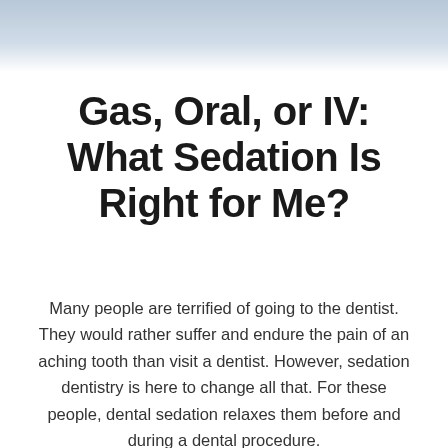[Figure (photo): Partial photo of a dental professional in light blue scrubs, cropped at the top of the page, showing upper body area against a light background.]
Gas, Oral, or IV: What Sedation Is Right for Me?
Many people are terrified of going to the dentist. They would rather suffer and endure the pain of an aching tooth than visit a dentist. However, sedation dentistry is here to change all that. For these people, dental sedation relaxes them before and during a dental procedure.